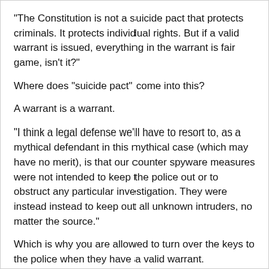“The Constitution is not a suicide pact that protects criminals. It protects individual rights. But if a valid warrant is issued, everything in the warrant is fair game, isn’t it?”
Where does “suicide pact” come into this?
A warrant is a warrant.
“I think a legal defense we’ll have to resort to, as a mythical defendant in this mythical case (which may have no merit), is that our counter spyware measures were not intended to keep the police out or to obstruct any particular investigation. They were instead instead to keep out all unknown intruders, no matter the source.”
Which is why you are allowed to turn over the keys to the police when they have a valid warrant.
You may refuse to, but you will face the consequences of that decision.
Maybe you can make your point clearer if you skip the rhetoric?